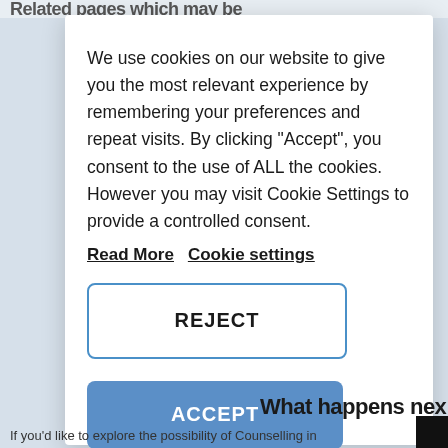Related pages which may be
We use cookies on our website to give you the most relevant experience by remembering your preferences and repeat visits. By clicking “Accept”, you consent to the use of ALL the cookies. However you may visit Cookie Settings to provide a controlled consent.
Read More   Cookie settings
REJECT
ACCEPT
What happens next
If you’d like to explore the possibility of Counselling in